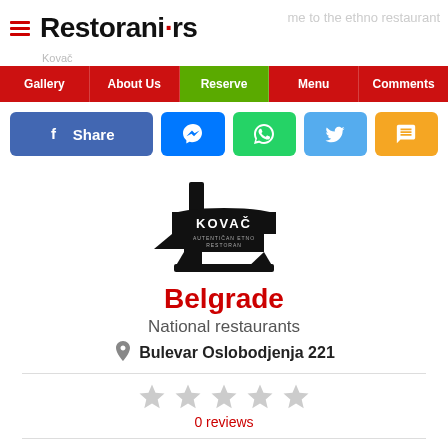Restorani·rs — Welcome to the ethno restaurant
[Figure (screenshot): Navigation bar with Gallery, About Us, Reserve (green), Menu, Comments tabs]
[Figure (screenshot): Social sharing buttons: Facebook Share, Messenger, WhatsApp, Twitter, SMS]
[Figure (logo): Kovač restaurant logo — black anvil with KOVAČ text and RESTORAN subtitle]
Belgrade
National restaurants
Bulevar Oslobodjenja 221
[Figure (other): 5 empty grey stars rating display]
0 reviews
Details